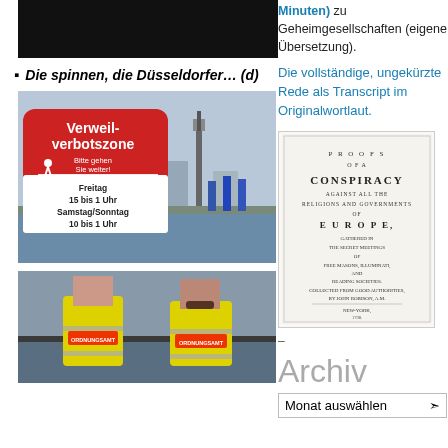[Figure (photo): Black top image bar (partial photo cut off at top)]
Die spinnen, die Düsseldorfer… (d)
[Figure (photo): Photo of a red Verweil-verbotszone sign in Düsseldorf with a waterfront and TV tower in background. Sign reads: Verweil-verbotszone / Bitte gehen Sie weiter! / Freitag 15 bis 1 Uhr / Samstag/Sonntag 10 bis 1 Uhr]
[Figure (photo): Photo of two people from behind wearing yellow high-visibility ORDNUNGSAMT vests, standing at waterfront]
Minuten) zu Geheimgesellschaften (eigene Übersetzung).
Die vollständige, ungekürzte Rede als Transcript im Originalwortlaut.
[Figure (photo): Book cover image: PROOFS OF A CONSPIRACY AGAINST ALL THE RELIGIONS AND GOVERNMENTS OF EUROPE, gathered in the secret meetings of FREE MASONS, ILLUMINATI, and READING SOCIETIES. Collected from good authorities, by JOHN ROBISON, A.M. New-York, 1798.]
–
Archiv
Monat auswählen